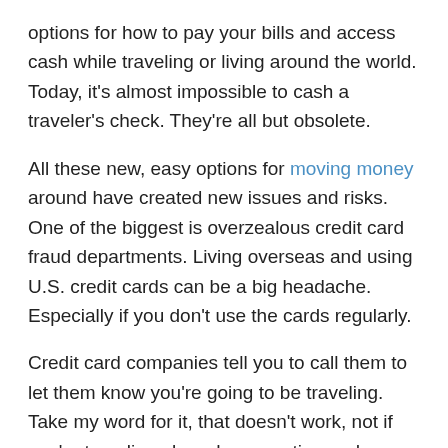options for how to pay your bills and access cash while traveling or living around the world. Today, it’s almost impossible to cash a traveler’s check. They’re all but obsolete.
All these new, easy options for moving money around have created new issues and risks. One of the biggest is overzealous credit card fraud departments. Living overseas and using U.S. credit cards can be a big headache. Especially if you don’t use the cards regularly.
Credit card companies tell you to call them to let them know you’re going to be traveling. Take my word for it, that doesn't work, not if you're traveling abroad on vacation and especially not if you travel regularly or are living outside your home country. Credit card systems just aren’t built to deal with a perpetual traveler. At least one of our credit cards is cut off (“for our protection”) at least once a week.